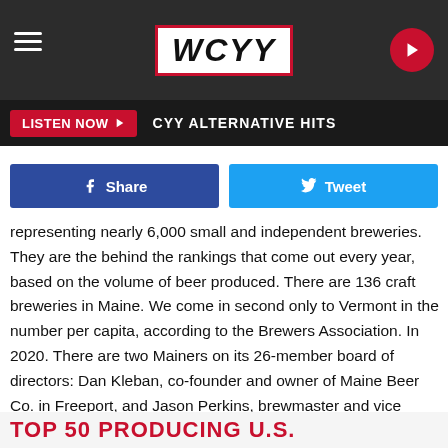WCYY
LISTEN NOW  CYY ALTERNATIVE HITS
[Figure (screenshot): Facebook Share and Twitter Tweet buttons]
representing nearly 6,000 small and independent breweries. They are the behind the rankings that come out every year, based on the volume of beer produced. There are 136 craft breweries in Maine. We come in second only to Vermont in the number per capita, according to the Brewers Association. In 2020. There are two Mainers on its 26-member board of directors: Dan Kleban, co-founder and owner of Maine Beer Co. in Freeport, and Jason Perkins, brewmaster and vice president at Allagash.
TOP 50 PRODUCING U.S.